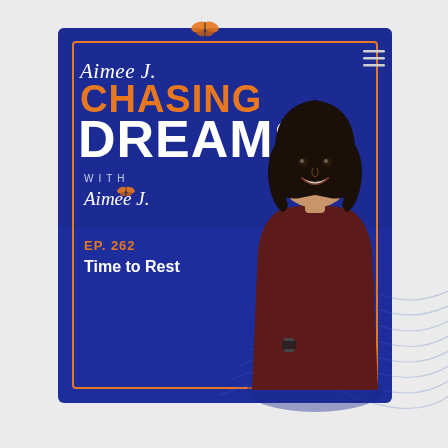[Figure (illustration): Podcast cover art for 'Aimee J. Chasing Dreams' podcast. Dark navy/blue background with orange border frame. Shows text: script 'Aimee J.' at top, 'CHASING' in orange, 'DREAMS' in white large bold, 'WITH' and script 'Aimee J.' below, then 'EP. 262' in orange and 'Time to Rest' in white bold. A smiling woman with dark hair and dark red sweater with arms crossed stands on the right side. Decorative wave lines in bottom right. Hamburger menu icon top right. Orange butterfly decoration top center.]